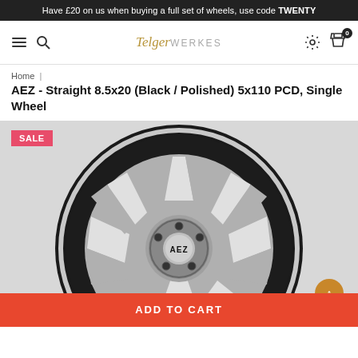Have £20 on us when buying a full set of wheels, use code TWENTY
[Figure (screenshot): Website navigation bar with hamburger menu, search icon, TelgerWERKES logo, settings icon, and shopping cart with badge showing 0]
Home | AEZ - Straight 8.5x20 (Black / Polished) 5x110 PCD, Single Wheel
AEZ - Straight 8.5x20 (Black / Polished) 5x110 PCD, Single Wheel
[Figure (photo): Close-up photo of an AEZ brand alloy wheel with black and polished finish, 8.5x20 size, showing spoke design with AEZ center cap. A SALE badge is shown in the top left corner.]
ADD TO CART